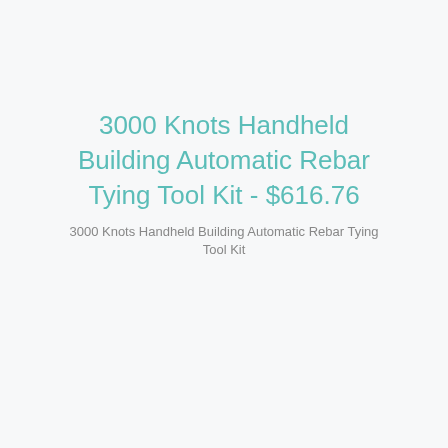3000 Knots Handheld Building Automatic Rebar Tying Tool Kit - $616.76
3000 Knots Handheld Building Automatic Rebar Tying Tool Kit